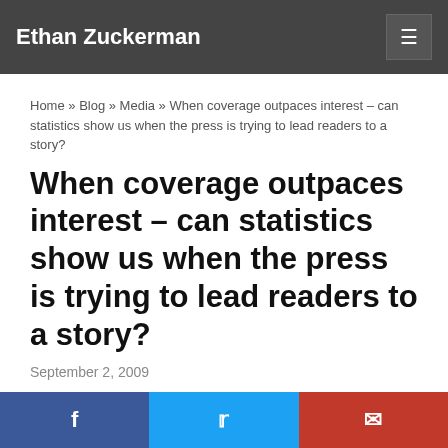Ethan Zuckerman
Home » Blog » Media » When coverage outpaces interest – can statistics show us when the press is trying to lead readers to a story?
When coverage outpaces interest – can statistics show us when the press is trying to lead readers to a story?
September 2, 2009
I'm working on some research on press coverage of Iran, wondering whether the heavy restrictions on international